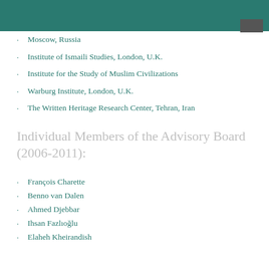Moscow, Russia
Institute of Ismaili Studies, London, U.K.
Institute for the Study of Muslim Civilizations
Warburg Institute, London, U.K.
The Written Heritage Research Center, Tehran, Iran
Individual Members of the Advisory Board (2006-2011):
François Charette
Benno van Dalen
Ahmed Djebbar
Ihsan Fazlıoğlu
Elaheh Kheirandish